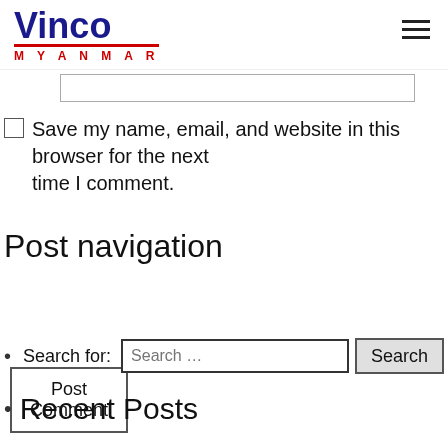Vinco MYANMAR
[Figure (other): Text input field (website URL field)]
Save my name, email, and website in this browser for the next time I comment.
[Figure (other): Post Comment button]
Post navigation
← How to Get Research Papers Online
How To Get Term Paper For Your →
Search for: Search … Search
Recent Posts